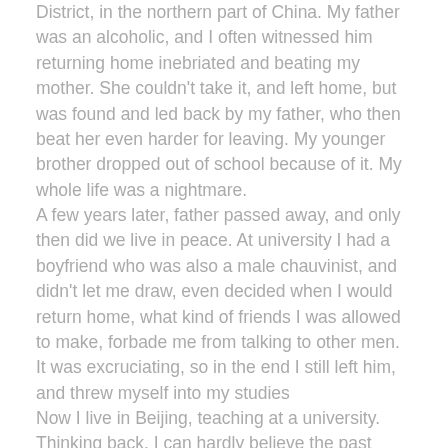District, in the northern part of China. My father was an alcoholic, and I often witnessed him returning home inebriated and beating my mother. She couldn't take it, and left home, but was found and led back by my father, who then beat her even harder for leaving. My younger brother dropped out of school because of it. My whole life was a nightmare. A few years later, father passed away, and only then did we live in peace. At university I had a boyfriend who was also a male chauvinist, and didn't let me draw, even decided when I would return home, what kind of friends I was allowed to make, forbade me from talking to other men. It was excruciating, so in the end I still left him, and threw myself into my studies Now I live in Beijing, teaching at a university. Thinking back, I can hardly believe the past...